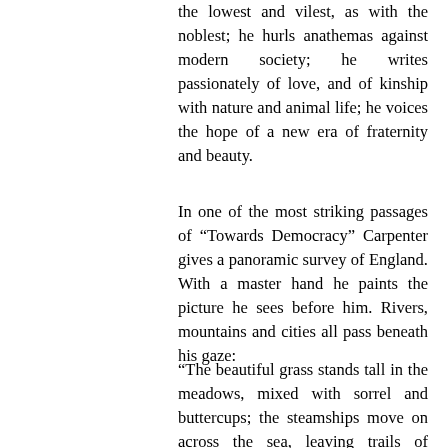the lowest and vilest, as with the noblest; he hurls anathemas against modern society; he writes passionately of love, and of kinship with nature and animal life; he voices the hope of a new era of fraternity and beauty.
In one of the most striking passages of “Towards Democracy” Carpenter gives a panoramic survey of England. With a master hand he paints the picture he sees before him. Rivers, mountains and cities all pass beneath his gaze:
“The beautiful grass stands tall in the meadows, mixed with sorrel and buttercups; the steamships move on across the sea, leaving trails of smoke. I see the tall white cliffs of